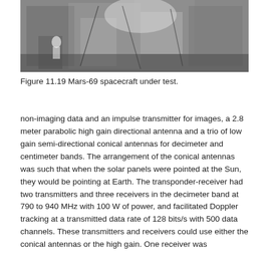[Figure (photo): Black and white photograph of the Mars-69 spacecraft being assembled or tested in a facility, with technicians in white coats working around the spacecraft structure.]
Figure 11.19 Mars-69 spacecraft under test.
non-imaging data and an impulse transmitter for images, a 2.8 meter parabolic high gain directional antenna and a trio of low gain semi-directional conical antennas for decimeter and centimeter bands. The arrangement of the conical antennas was such that when the solar panels were pointed at the Sun, they would be pointing at Earth. The transponder-receiver had two transmitters and three receivers in the decimeter band at 790 to 940 MHz with 100 W of power, and facilitated Doppler tracking at a transmitted data rate of 128 bits/s with 500 data channels. These transmitters and receivers could use either the conical antennas or the high gain. One receiver was